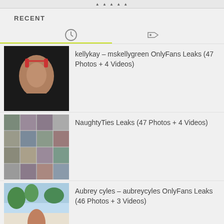RECENT
kellykay – mskellygreen OnlyFans Leaks (47 Photos + 4 Videos)
NaughtyTies Leaks (47 Photos + 4 Videos)
Aubrey cyles – aubreycyles OnlyFans Leaks (46 Photos + 3 Videos)